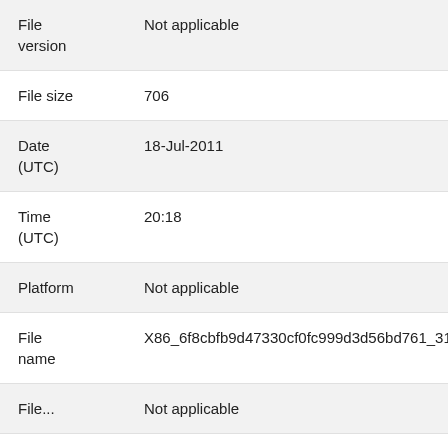| Field | Value |
| --- | --- |
| File version | Not applicable |
| File size | 706 |
| Date (UTC) | 18-Jul-2011 |
| Time (UTC) | 20:18 |
| Platform | Not applicable |
| File name | X86_6f8cbfb9d47330cf0fc999d3d56bd761_31bf3856ac... |
| File... | Not applicable |